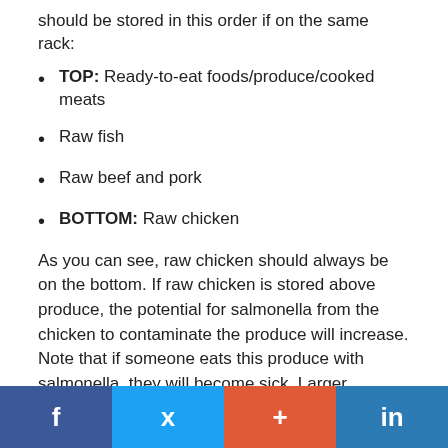should be stored in this order if on the same rack:
TOP: Ready-to-eat foods/produce/cooked meats
Raw fish
Raw beef and pork
BOTTOM: Raw chicken
As you can see, raw chicken should always be on the bottom. If raw chicken is stored above produce, the potential for salmonella from the chicken to contaminate the produce will increase. Note that if someone eats this produce with salmonella, they will become sick. Larger operations with more space may have all raw chicken on one rack and ready-to-eat foods in another storage area. This is the best way to prevent cross-contamination during storage. Check out our handy Restaurant Walk-In Food
Facebook Twitter + LinkedIn